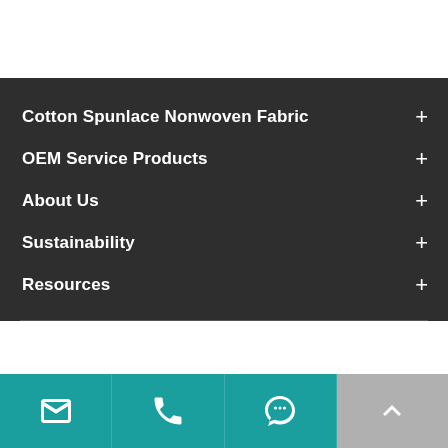Cotton Spunlace Nonwoven Fabric
OEM Service Products
About Us
Sustainability
Resources